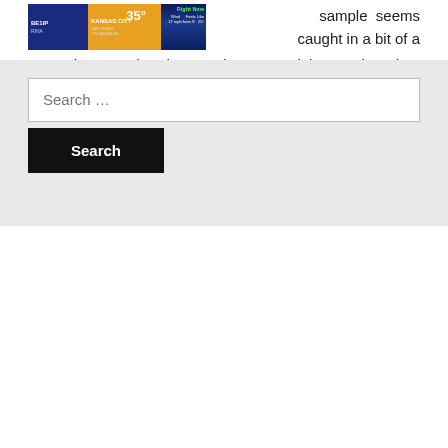[Figure (screenshot): Weather broadcast screenshot showing Kansas City weather, 35 degrees, wind 17 mph from S, feels like 25 degrees, Right Now label in green]
sample seems caught in a bit of a rut. Showers in the northwest tonight turning into widespread during tomorrow with the risk of hail or thunder. Regardless of Hurricane Gert soaking Britain this weekend, next … Read the rest
← Older Posts
Search …
Search